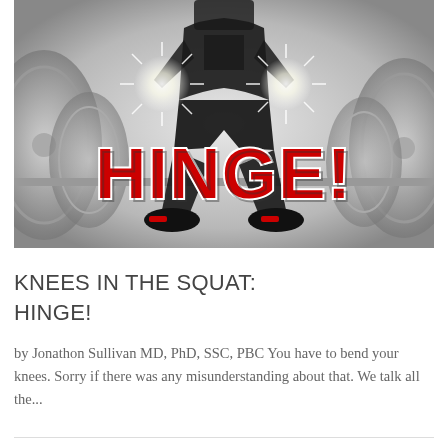[Figure (photo): A person squatting in a gym with barbell weight plates visible on either side. A bright starburst light effect is visible. Large red bold text 'HINGE!' overlaid on the lower portion of the image.]
KNEES IN THE SQUAT: HINGE!
by Jonathon Sullivan MD, PhD, SSC, PBC You have to bend your knees. Sorry if there was any misunderstanding about that. We talk all the...